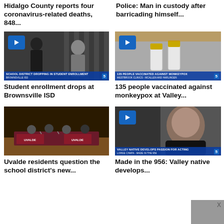Hidalgo County reports four coronavirus-related deaths, 848...
Police: Man in custody after barricading himself...
[Figure (screenshot): Video thumbnail showing students in school hallway with lower-third: SCHOOL DISTRICT DROPPING IN STUDENT ENROLLMENT / BROWNSVILLE ISD]
[Figure (screenshot): Video thumbnail showing vaccine vials with lower-third: 135 PEOPLE VACCINATED AGAINST MONKEYPOX / WESTBROOK CLINICS - MCALLEN AND HARLINGEN]
Student enrollment drops at Brownsville ISD
135 people vaccinated against monkeypox at Valley...
[Figure (photo): Photo of Uvalde school board meeting with people seated at maroon-draped table with UVALDE banners]
[Figure (screenshot): Video thumbnail of a man with lower-third: VALLEY NATIVE DEVELOPS PASSION FOR ACTING / LORGE CHAPA - MADE IN THE 956]
Uvalde residents question the school district's new...
Made in the 956: Valley native develops...